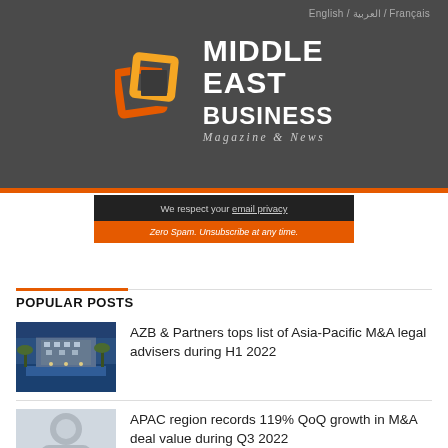English / العربية / Français
[Figure (logo): Middle East Business Magazine & News logo with orange geometric squares icon and white bold text]
We respect your email privacy
Zero Spam. Unsubscribe at any time.
POPULAR POSTS
AZB & Partners tops list of Asia-Pacific M&A legal advisers during H1 2022
APAC region records 119% QoQ growth in M&A deal value during Q3 2022